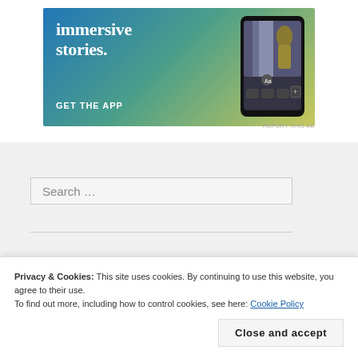[Figure (screenshot): Advertisement banner with gradient blue-teal-yellow background showing 'immersive stories.' text and GET THE APP call to action with a phone mockup image on the right side]
REPORT THIS AD
Search ...
RECENT POSTS
Privacy & Cookies: This site uses cookies. By continuing to use this website, you agree to their use.
To find out more, including how to control cookies, see here: Cookie Policy
Close and accept
REPORT THIS AD